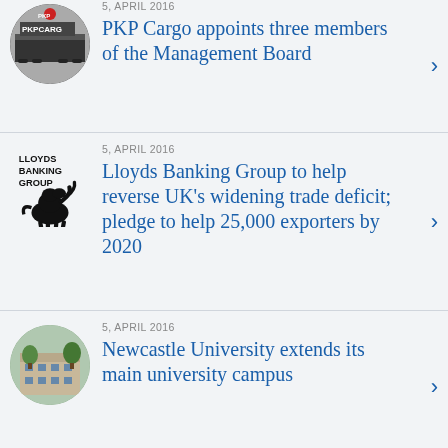[Figure (logo): PKP Cargo circular logo with train imagery]
5, APRIL 2016
PKP Cargo appoints three members of the Management Board
[Figure (logo): Lloyds Banking Group logo with black horse]
5, APRIL 2016
Lloyds Banking Group to help reverse UK’s widening trade deficit; pledge to help 25,000 exporters by 2020
[Figure (photo): Newcastle University building photo in circular frame]
5, APRIL 2016
Newcastle University extends its main university campus